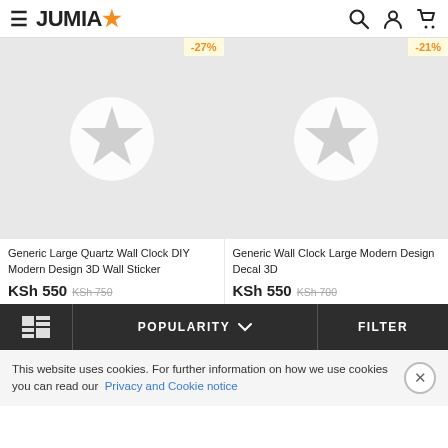JUMIA
[Figure (screenshot): Product card: Generic Large Quartz Wall Clock DIY Modern Design 3D Wall Sticker, KSh 550 was KSh 750, -27% discount badge, placeholder star image]
[Figure (screenshot): Product card: Generic Wall Clock Large Modern Design Decal 3D, KSh 550 was KSh 700, -21% discount badge, placeholder star image]
POPULARITY  FILTER
This website uses cookies. For further information on how we use cookies you can read our Privacy and Cookie notice